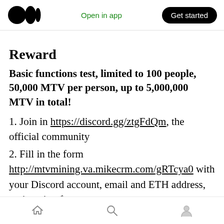Medium logo | Open in app | Get started
Reward
Basic functions test, limited to 100 people, 50,000 MTV per person, up to 5,000,000 MTV in total!
1. Join in https://discord.gg/ztgFdQm, the official community
2. Fill in the form http://mtvmining.va.mikecrm.com/gRTcya0 with your Discord account, email and ETH address, registration form
3. Complete these 6 basic operations of buy/sell/add/remove/mint/repay. For details
Home | Search | Profile